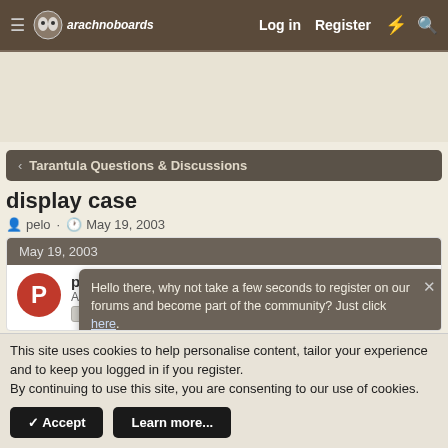arachnoboards — Log in  Register
Tarantula Questions & Discussions
display case
pelo · May 19, 2003
May 19, 2003
pelo
Arachnoangel  Old Timer
Hello there, why not take a few seconds to register on our forums and become part of the community? Just click here.
This site uses cookies to help personalise content, tailor your experience and to keep you logged in if you register.
By continuing to use this site, you are consenting to our use of cookies.
✓ Accept   Learn more...